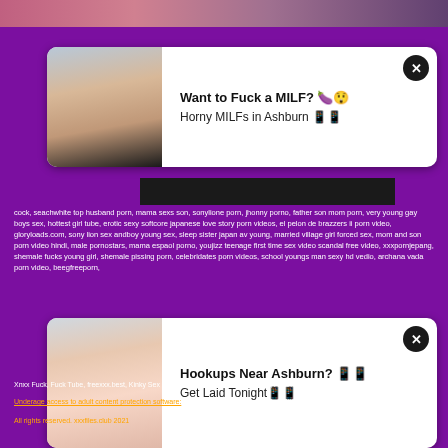[Figure (screenshot): Ad card 1: Want to Fuck a MILF? with photo of woman]
[Figure (screenshot): Ad card 2: Hookups Near Ashburn? Get Laid Tonight with photo of woman]
cock, seachwhite top husband porn, mama sexs son, sonylione porn, jhonny porno, father son mom porn, very young gay boys sex, hottest girl tube, erotic sexy softcore japanese love story porn videos, el pelon de brazzers ii porn video, gloryloads.com, sony lion sex andboy young sex, sleep sister japan av young, married village girl forced sex, mom and son porn video hindi, male pornostars, mama espaol porno, youjizz teenage first time sex video scandal free video, xxxpornjepang, shemale fucks young girl, shemale pissing porn, celebridates porn videos, school youngs man sexy hd vedio, archana vada porn video, beegfreeporn,
Xnxx Fuck, Fuck Tube, freexxx.best, Kinky Sex Movies, Free Sex Indian, biqle.club, Asian Porn, fucktube.com, Free Beeg,
Underage access to adult content protection software: Net Nanny, Cyber Patrol, Cyber Sitter.
All rights reserved. xxxfiles.club 2021